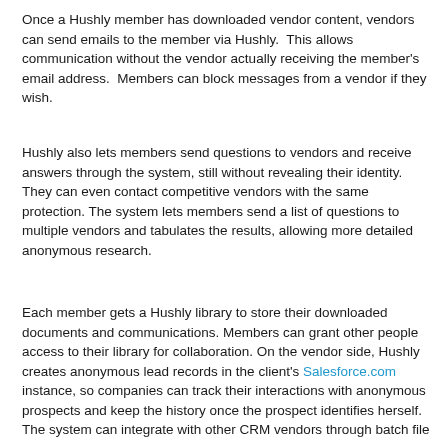Once a Hushly member has downloaded vendor content, vendors can send emails to the member via Hushly.  This allows communication without the vendor actually receiving the member's email address.  Members can block messages from a vendor if they wish.
Hushly also lets members send questions to vendors and receive answers through the system, still without revealing their identity. They can even contact competitive vendors with the same protection. The system lets members send a list of questions to multiple vendors and tabulates the results, allowing more detailed anonymous research.
Each member gets a Hushly library to store their downloaded documents and communications. Members can grant other people access to their library for collaboration. On the vendor side, Hushly creates anonymous lead records in the client's Salesforce.com instance, so companies can track their interactions with anonymous prospects and keep the history once the prospect identifies herself. The system can integrate with other CRM vendors through batch file